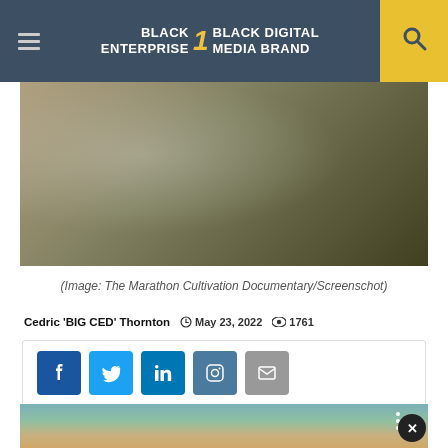BLACK ENTERPRISE THE #1 BLACK DIGITAL MEDIA BRAND
[Figure (photo): Close-up photo of a person wearing a white t-shirt and gold chain/medallion necklace, with tattoos visible on arm, outdoors near greenery]
(Image: The Marathon Cultivation Documentary/Screenschot)
Cedric 'BIG CED' Thornton  May 23, 2022  1761
[Figure (infographic): Social share buttons: Facebook, Twitter, LinkedIn, Instagram, Email]
[Figure (photo): Partial photo of a person wearing sunglasses, with teal/green background, with three-dot menu and close button overlay]